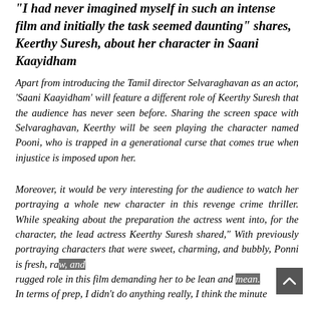"I had never imagined myself in such an intense film and initially the task seemed daunting" shares, Keerthy Suresh, about her character in Saani Kaayidham
Apart from introducing the Tamil director Selvaraghavan as an actor, 'Saani Kaayidham' will feature a different role of Keerthy Suresh that the audience has never seen before. Sharing the screen space with Selvaraghavan, Keerthy will be seen playing the character named Pooni, who is trapped in a generational curse that comes true when injustice is imposed upon her.
Moreover, it would be very interesting for the audience to watch her portraying a whole new character in this revenge crime thriller. While speaking about the preparation the actress went into, for the character, the lead actress Keerthy Suresh shared," With previously portraying characters that were sweet, charming, and bubbly, Ponni is fresh, raw, and rugged role in this film demanding her to be lean and mean. In terms of prep, I didn't do anything really, I think the minute